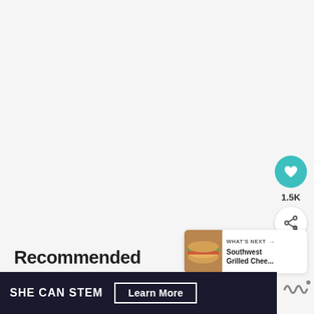[Figure (screenshot): White/light grey background area taking up most of the page, representing a webpage screenshot]
[Figure (infographic): Teal circular heart/like button showing 1.5K likes, and a white circular share button with share icon, positioned on right side]
1.5K
[Figure (infographic): What's Next card showing thumbnail of grilled cheese sandwich and title 'Southwest Grilled Chee...']
WHAT'S NEXT → Southwest Grilled Chee...
Recommended
[Figure (infographic): Dark navy advertisement banner reading 'SHE CAN STEM' with a 'Learn More' button]
SHE CAN STEM   Learn More